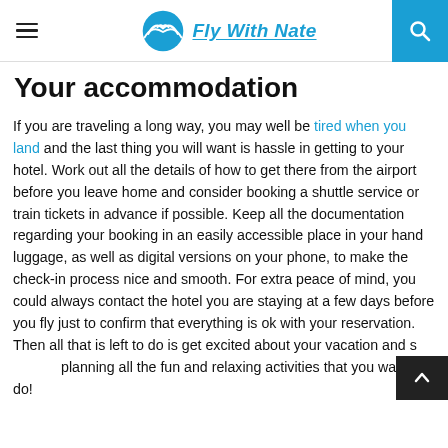Fly With Nate
Your accommodation
If you are traveling a long way, you may well be tired when you land and the last thing you will want is hassle in getting to your hotel. Work out all the details of how to get there from the airport before you leave home and consider booking a shuttle service or train tickets in advance if possible. Keep all the documentation regarding your booking in an easily accessible place in your hand luggage, as well as digital versions on your phone, to make the check-in process nice and smooth. For extra peace of mind, you could always contact the hotel you are staying at a few days before you fly just to confirm that everything is ok with your reservation. Then all that is left to do is get excited about your vacation and start planning all the fun and relaxing activities that you want to do!